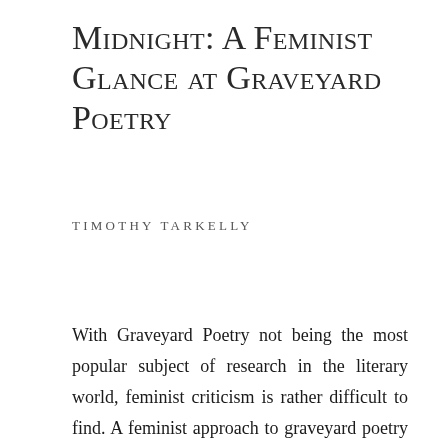Midnight: A Feminist Glance at Graveyard Poetry
TIMOTHY TARKELLY
With Graveyard Poetry not being the most popular subject of research in the literary world, feminist criticism is rather difficult to find. A feminist approach to graveyard poetry would consist of “exploring the sociocultural and historical contexts in which writers work (especially women), by examining the form and content of